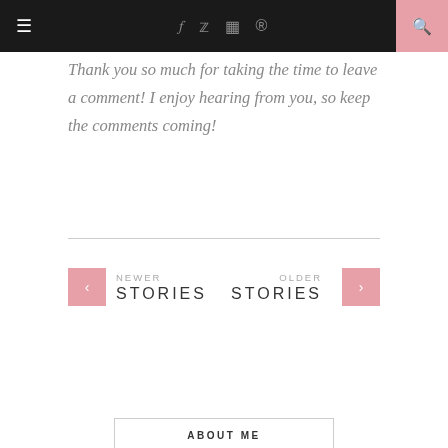☰ f 𝕏 📷 𝕡 🔍
Thank you so much for taking the time to leave a comment! I enjoy hearing from you, so keep the comments coming!
< NEWER STORIES    OLDER STORIES >
ABOUT ME